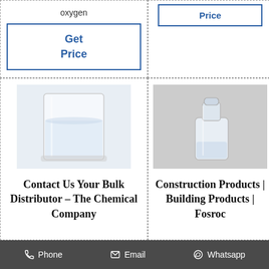oxygen
Get Price
Price
[Figure (photo): A glass beaker/cup filled with clear liquid on a white background]
Contact Us Your Bulk Distributor – The Chemical Company
[Figure (photo): A small glass bottle/vial with a clear liquid on a grey background]
Construction Products | Building Products | Fosroc
Phone   Email   Whatsapp